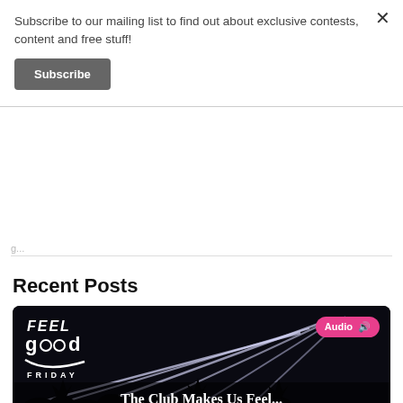Subscribe to our mailing list to find out about exclusive contests, content and free stuff!
Subscribe
Recent Posts
[Figure (photo): Club scene with laser lights and silhouettes of crowd, overlaid with 'FEEL good FRIDAY' logo and 'Audio' badge in pink. Bottom text reads 'The Club Makes Us Feel...']
The Club Makes Us Feel...